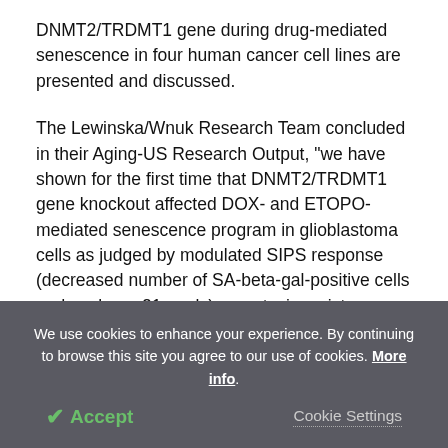DNMT2/TRDMT1 gene during drug-mediated senescence in four human cancer cell lines are presented and discussed.
The Lewinska/Wnuk Research Team concluded in their Aging-US Research Output, "we have shown for the first time that DNMT2/TRDMT1 gene knockout affected DOX- and ETOPO-mediated senescence program in glioblastoma cells as judged by modulated SIPS response (decreased number of SA-beta-gal-positive cells and nuclear p21 pools), apoptosis resistance, increased ROS levels, elevated DNA damage and...
We use cookies to enhance your experience. By continuing to browse this site you agree to our use of cookies. More info.
✔ Accept
Cookie Settings